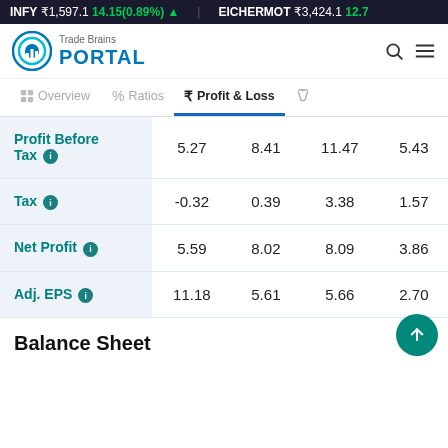INFY ₹1,597.1 14.15(0.89%) ▲   EICHERMOT ₹3,424.1 12.7
[Figure (logo): Trade Brains Portal logo with circular chart icon in teal and blue, text 'Trade Brains' above 'PORTAL']
Overview   %  Ratios   ₹  Profit & Loss   ⚖
|  | Col1 | Col2 | Col3 | Col4 |
| --- | --- | --- | --- | --- |
| Profit Before Tax | 5.27 | 8.41 | 11.47 | 5.43 |
| Tax | -0.32 | 0.39 | 3.38 | 1.57 |
| Net Profit | 5.59 | 8.02 | 8.09 | 3.86 |
| Adj. EPS | 11.18 | 5.61 | 5.66 | 2.70 |
Balance Sheet